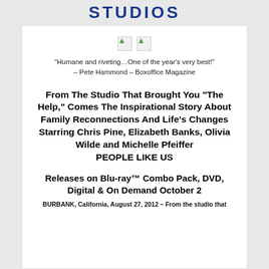STUDIOS
[Figure (illustration): Two broken/placeholder image icons side by side]
“Humane and riveting…One of the year’s very best!” – Pete Hammond – Boxoffice Magazine
From The Studio That Brought You “The Help,” Comes The Inspirational Story About Family Reconnections And Life’s Changes Starring Chris Pine, Elizabeth Banks, Olivia Wilde and Michelle Pfeiffer PEOPLE LIKE US
Releases on Blu-ray™ Combo Pack, DVD, Digital & On Demand October 2
BURBANK, California, August 27, 2012 – From the studio that